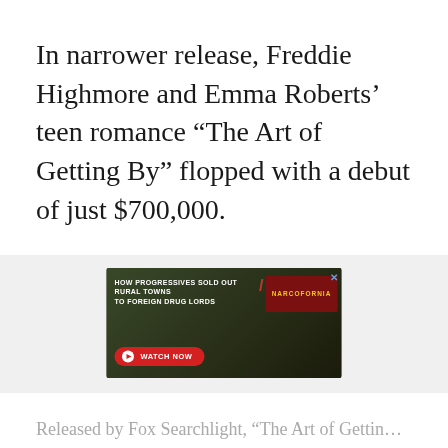In narrower release, Freddie Highmore and Emma Roberts’ teen romance “The Art of Getting By” flopped with a debut of just $700,000.
[Figure (screenshot): Advertisement banner: dark background with leaf imagery. Text reads 'HOW PROGRESSIVES SOLD OUT RURAL TOWNS TO FOREIGN DRUG LORDS' with a red WATCH NOW button and NARCOFORNIA logo in yellow text on dark red background. Blue X close button in top right.]
Released by Fox Searchlight, “The Art of Gettin…